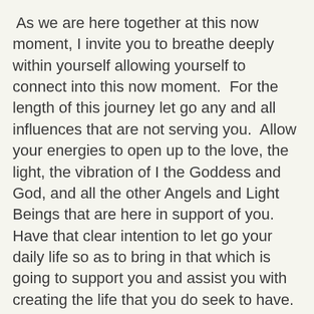As we are here together at this now moment, I invite you to breathe deeply within yourself allowing yourself to connect into this now moment.  For the length of this journey let go any and all influences that are not serving you.  Allow your energies to open up to the love, the light, the vibration of I the Goddess and God, and all the other Angels and Light Beings that are here in support of you.  Have that clear intention to let go your daily life so as to bring in that which is going to support you and assist you with creating the life that you do seek to have.
During the month of February, both of the channels spoke of the about the vibration.  Vibration is an energy.  The vibration of all those influences that I just spoke about creating that which is your vibration that is then sent out to the people and situations in